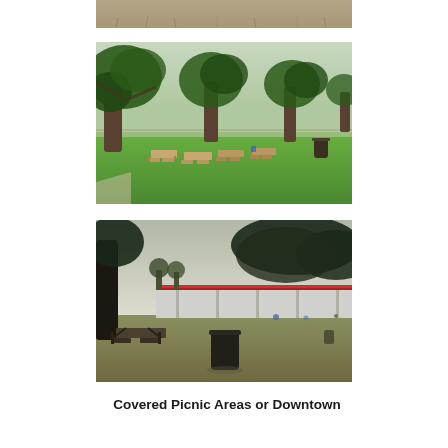[Figure (photo): Partial view of a park area, top portion of image cropped, showing grassy ground with sparse dry grass.]
[Figure (photo): Outdoor park scene with large oak trees providing shade over multiple picnic tables arranged on a green grassy lawn, with a fence or structure visible in the background.]
[Figure (photo): Park picnic area with a picnic table and a dark cylindrical trash can in the foreground, large oak trees, and a covered structure with red roof in the background on dry grassy ground.]
Covered Picnic Areas or Downtown